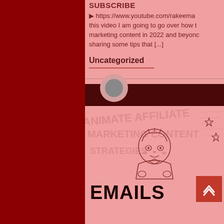SUBSCRIBE
► https://www.youtube.com/rakeema... this video I am going to go over how to marketing content in 2022 and beyond sharing some tips that [...]
Uncategorized
[Figure (illustration): A card/post preview with a dark banner header, anime character illustration, background watermark text, star decorations, dot pattern, EMAILS large text at bottom, and a red scroll-to-top button.]